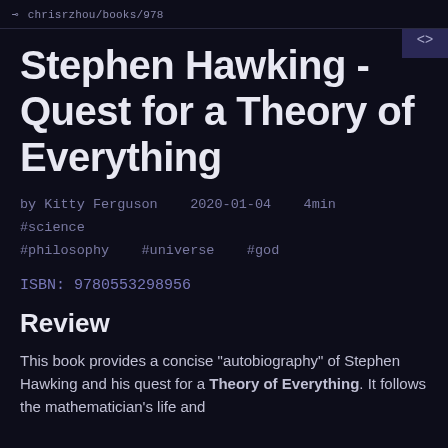chrisrzhou/books/978
Stephen Hawking - Quest for a Theory of Everything
by Kitty Ferguson  2020-01-04  4min  #science  #philosophy  #universe  #god
ISBN: 9780553298956
Review
This book provides a concise "autobiography" of Stephen Hawking and his quest for a Theory of Everything. It follows the mathematician's life and